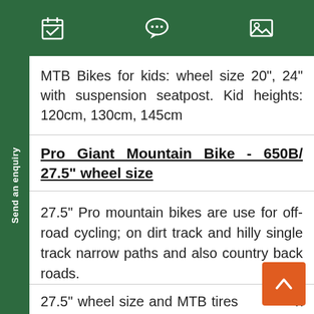[navigation bar with icons: calendar, chat, image]
MTB Bikes for kids: wheel size 20", 24" with suspension seatpost. Kid heights: 120cm, 130cm, 145cm
Pro Giant Mountain Bike - 650B/ 27.5" wheel size
27.5" Pro mountain bikes are use for off-road cycling; on dirt track and hilly single track narrow paths and also country back roads.
27.5" wheel size and MTB tires x 1.95 is the best choice and suitable and good